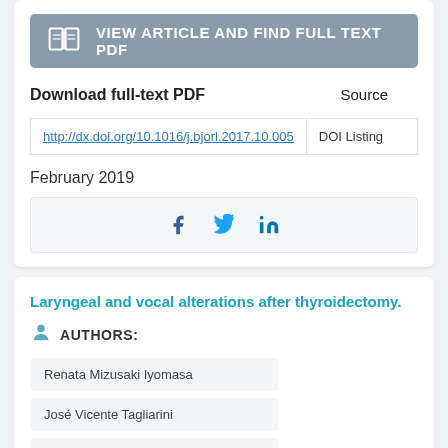[Figure (other): View Article and Find Full Text PDF button with book icon]
Download full-text PDF
| Download full-text PDF | Source |
| --- | --- |
| http://dx.doi.org/10.1016/j.bjorl.2017.10.005 | DOI Listing |
February 2019
[Figure (other): Social sharing bar with Facebook, Twitter, and LinkedIn icons]
Laryngeal and vocal alterations after thyroidectomy.
AUTHORS:
Renata Mizusaki Iyomasa
José Vicente Tagliarini
Sérgio Augusto Rodrigues